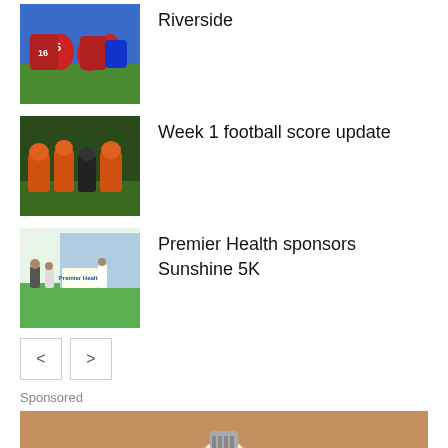[Figure (photo): Football players in red and blue uniforms on field]
Riverside
[Figure (photo): Football game action shot with players in orange and dark uniforms]
Week 1 football score update
[Figure (photo): People standing in front of a Premier Health sign outdoors]
Premier Health sponsors Sunshine 5K
< >
Sponsored
[Figure (photo): A hand holding a light bulb against a warm background]